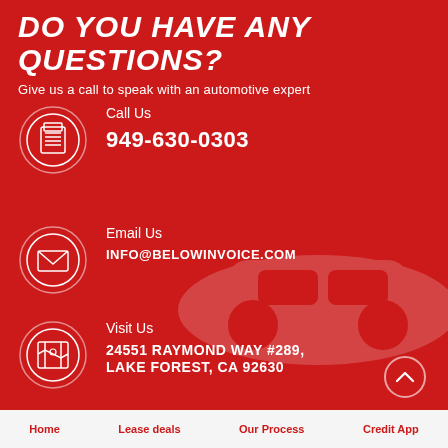DO YOU HAVE ANY QUESTIONS?
Give us a call to speak with an automotive expert
Call Us
949-630-0303
Email Us
INFO@BELOWINVOICE.COM
Visit Us
24551 RAYMOND WAY #289, LAKE FOREST, CA 92630
Home   Lease deals   Our Process   Credit App